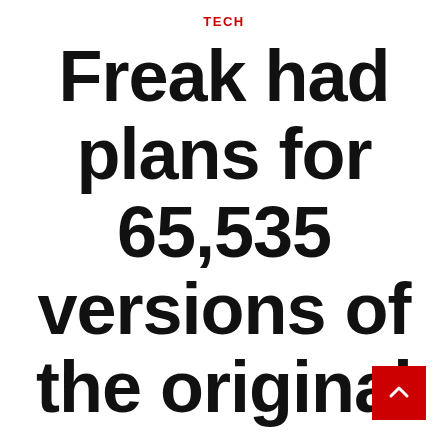TECH
Freak had plans for 65,535 versions of the original